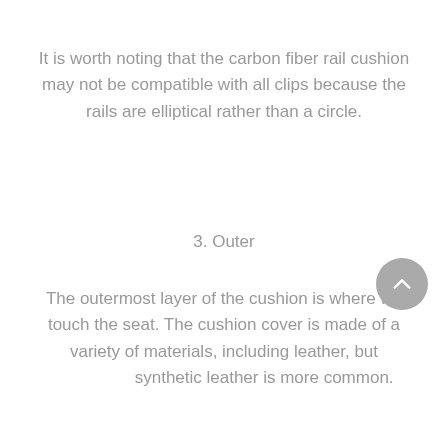It is worth noting that the carbon fiber rail cushion may not be compatible with all clips because the rails are elliptical rather than a circle.
3. Outer
The outermost layer of the cushion is where we touch the seat. The cushion cover is made of a variety of materials, including leather, but synthetic leather is more common.